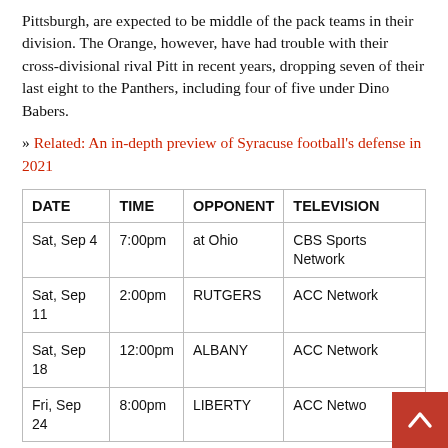Pittsburgh, are expected to be middle of the pack teams in their division. The Orange, however, have had trouble with their cross-divisional rival Pitt in recent years, dropping seven of their last eight to the Panthers, including four of five under Dino Babers.
» Related: An in-depth preview of Syracuse football's defense in 2021
| DATE | TIME | OPPONENT | TELEVISION |
| --- | --- | --- | --- |
| Sat, Sep 4 | 7:00pm | at Ohio | CBS Sports Network |
| Sat, Sep 11 | 2:00pm | RUTGERS | ACC Network |
| Sat, Sep 18 | 12:00pm | ALBANY | ACC Network |
| Fri, Sep 24 | 8:00pm | LIBERTY | ACC Network |